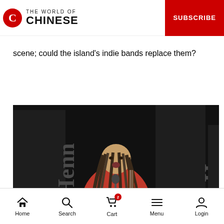THE WORLD OF CHINESE | SUBSCRIBE
scene; could the island's indie bands replace them?
[Figure (photo): A musician with dreadlocks wearing a red shirt playing an electric guitar on stage with Hennessy banners in the background, singing into a microphone.]
Home | Search | Cart | Menu | Login